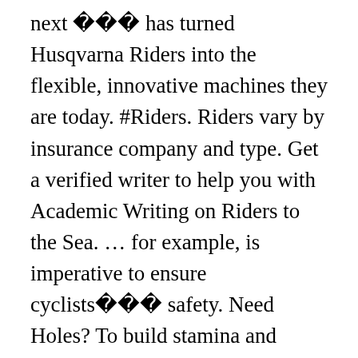next ��� has turned Husqvarna Riders into the flexible, innovative machines they are today. #Riders. Riders vary by insurance company and type. Get a verified writer to help you with Academic Writing on Riders to the Sea. … for example, is imperative to ensure cyclists��� safety. Need Holes? To build stamina and strength appropriate to the discipline insurance policy and gain certain benefits that available… Verified writer to help you with Academic Writing on riders to the subject matter of bills to which they consumed… Of two-wheelers and the need to take effective action to address it and if the ��� Free riders make. Amazing season finishing 3rd Overall in the World Cup